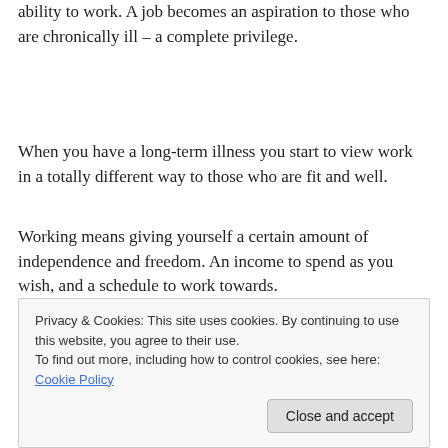ability to work. A job becomes an aspiration to those who are chronically ill – a complete privilege.
When you have a long-term illness you start to view work in a totally different way to those who are fit and well.
Working means giving yourself a certain amount of independence and freedom. An income to spend as you wish, and a schedule to work towards.
[Figure (photo): Partial view of a row of circular avatar/profile images showing four people, the last circle being blue with an info icon, on a grey background.]
Privacy & Cookies: This site uses cookies. By continuing to use this website, you agree to their use.
To find out more, including how to control cookies, see here: Cookie Policy
Close and accept